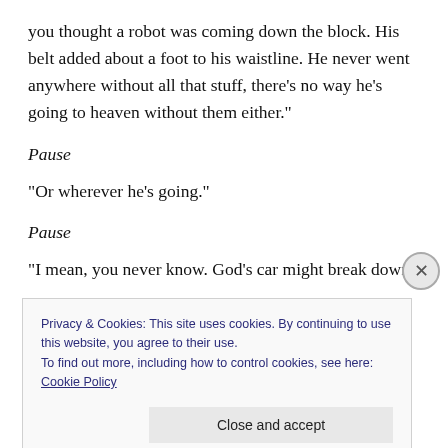you thought a robot was coming down the block. His belt added about a foot to his waistline. He never went anywhere without all that stuff, there’s no way he’s going to heaven without them either.”
Pause
“Or wherever he’s going.”
Pause
“I mean, you never know. God’s car might break down,
Privacy & Cookies: This site uses cookies. By continuing to use this website, you agree to their use.
To find out more, including how to control cookies, see here: Cookie Policy
Close and accept